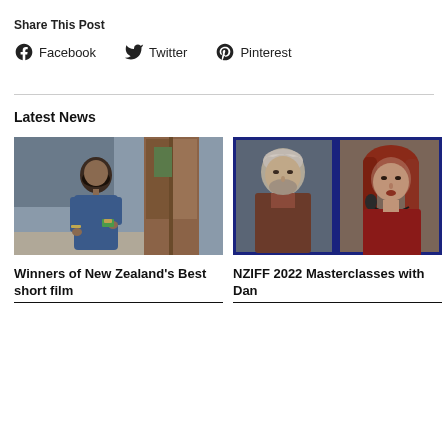Share This Post
Facebook
Twitter
Pinterest
Latest News
[Figure (photo): A woman in a blue dress holding something, standing indoors near furniture.]
Winners of New Zealand's Best short film
[Figure (photo): Two headshots side by side, separated by a blue border: a grey-haired man on the left and a red-haired woman on the right.]
NZIFF 2022 Masterclasses with Dan